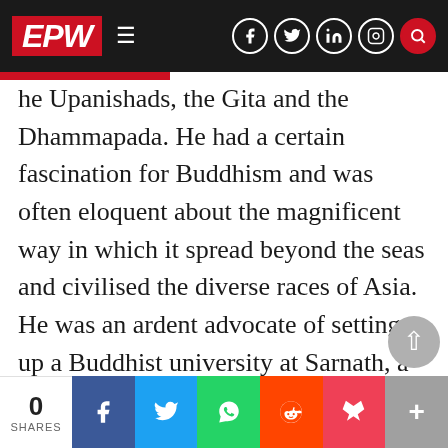EPW
he Upanishads, the Gita and the Dhammapada. He had a certain fascination for Buddhism and was often eloquent about the magnificent way in which it spread beyond the seas and civilised the diverse races of Asia. He was an ardent advocate of setting up a Buddhist university at Sarnath, a movement which he believed could again civilise and unite the people of Asia. Jawaharlal Nehru with his sense of history, he thought, should have been attracted by this idea but much to his disappointment was not. The trust which he created is named the Sameeksha Trust. The present generation of social scienti…
0 SHARES | f | tweet | WhatsApp | Reddit | Pocket | +